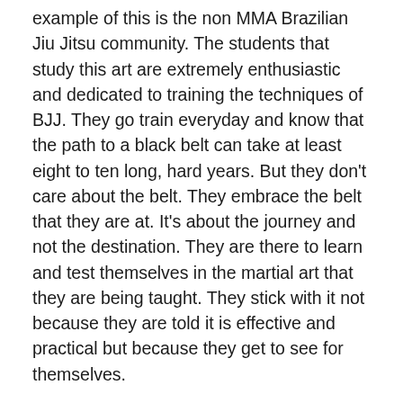example of this is the non MMA Brazilian Jiu Jitsu community. The students that study this art are extremely enthusiastic and dedicated to training the techniques of BJJ. They go train everyday and know that the path to a black belt can take at least eight to ten long, hard years. But they don't care about the belt. They embrace the belt that they are at. It's about the journey and not the destination. They are there to learn and test themselves in the martial art that they are being taught. They stick with it not because they are told it is effective and practical but because they get to see for themselves.
The way I see it is this. If the truly qualified  Kung Fu teachers out there who know how to apply the art would openly teach it and show the students the effectiveness of the style, it would have plenty of dedicated students eager